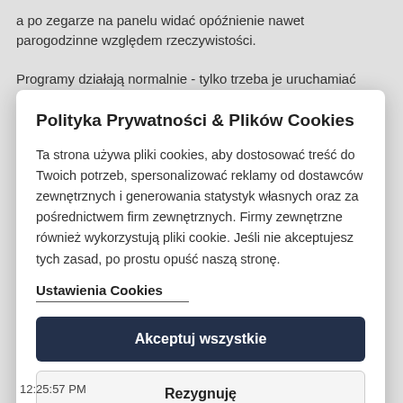a po zegarze na panelu widać opóźnienie nawet parogodzinne względem rzeczywistości.
Programy działają normalnie - tylko trzeba je uruchamiać poprzez
Polityka Prywatności & Plików Cookies
Ta strona używa pliki cookies, aby dostosować treść do Twoich potrzeb, spersonalizować reklamy od dostawców zewnętrznych i generowania statystyk własnych oraz za pośrednictwem firm zewnętrznych. Firmy zewnętrzne również wykorzystują pliki cookie. Jeśli nie akceptujesz tych zasad, po prostu opuść naszą stronę.
Ustawienia Cookies
Akceptuj wszystkie
Rezygnuję
12:25:57 PM